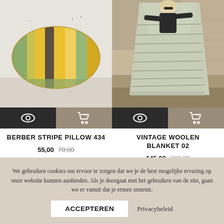[Figure (photo): Yellow, green and grey striped Berber pillow leaning against a white wall]
[Figure (photo): Person holding up a large light sage green vintage woolen blanket with thin stripe pattern outdoors]
BERBER STRIPE PILLOW 434
55,00  70,00
VINTAGE WOOLEN BLANKET 02
145,00  190,00
We gebruiken cookies om ervoor te zorgen dat we je de best mogelijke ervaring op onze website kunnen aanbieden. Als je doorgaat met het gebruiken van de site, gaan we er vanuit dat je ermee instemt.
ACCEPTEREN
Privacybeleid